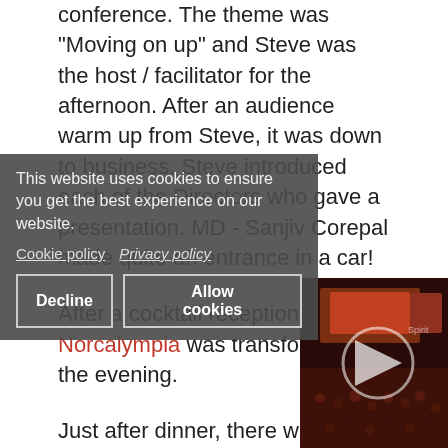conference. The theme was "Moving on up" and Steve was the host / facilitator for the afternoon. After an audience warm up from Steve, it was down to business. Steve introduced each of the Directors who gave a presentation. MD - Sanjiv Corepal made quite an entrance in a car!
After a cocktail reception, Norcalympia was transformed for the evening.
Just after dinner, there was a cheque presentation to chosen charity - Help for Heroes. The Money Shop's Dave Leverton was delighted to hand over a cheque for £40,000.
In celebration of such a fantastic amount being
This website uses cookies to ensure you get the best experience on our website.
Cookie policy    Privacy policy
[Decline]  [Allow cookies]
[Figure (photo): Video thumbnail showing a conference/event scene with audience and stage, with a play button overlay]